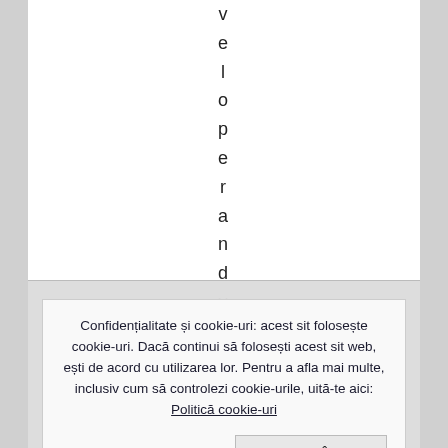v e l o p e r a n d y o u , l l
Confidențialitate și cookie-uri: acest sit folosește cookie-uri. Dacă continui să folosești acest sit web, ești de acord cu utilizarea lor. Pentru a afla mai multe, inclusiv cum să controlezi cookie-urile, uită-te aici: Politică cookie-uri
Accență si Închide
r a